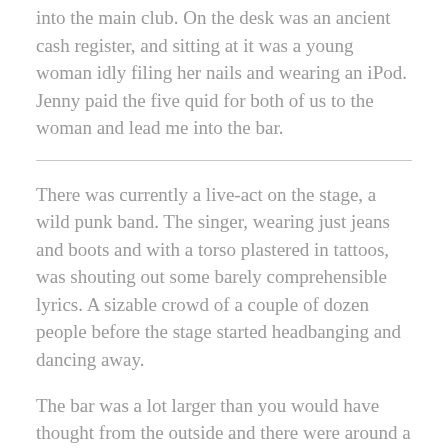into the main club. On the desk was an ancient cash register, and sitting at it was a young woman idly filing her nails and wearing an iPod. Jenny paid the five quid for both of us to the woman and lead me into the bar.
There was currently a live-act on the stage, a wild punk band. The singer, wearing just jeans and boots and with a torso plastered in tattoos, was shouting out some barely comprehensible lyrics. A sizable crowd of a couple of dozen people before the stage started headbanging and dancing away.
The bar was a lot larger than you would have thought from the outside and there were around a hundred people there; mostly punk types with spikey hair and mohawks but a few black-haired goths and some shaven-headed people thrown in as well. It seemed to primarily be a punk-bar but otherwise there was a good mix of people of various sub-cultures, all